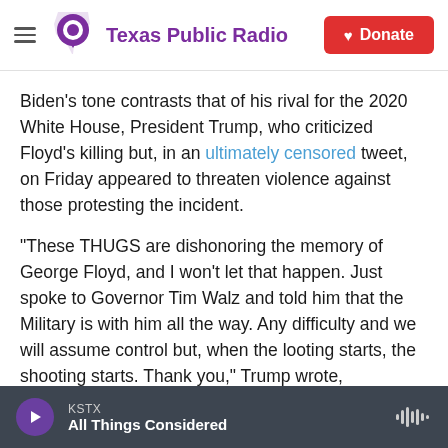Texas Public Radio — Donate
Biden's tone contrasts that of his rival for the 2020 White House, President Trump, who criticized Floyd's killing but, in an ultimately censored tweet, on Friday appeared to threaten violence against those protesting the incident.
"These THUGS are dishonoring the memory of George Floyd, and I won't let that happen. Just spoke to Governor Tim Walz and told him that the Military is with him all the way. Any difficulty and we will assume control but, when the looting starts, the shooting starts. Thank you," Trump wrote,
KSTX — All Things Considered